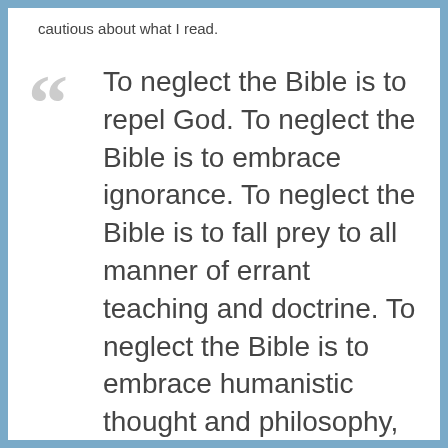cautious about what I read.
To neglect the Bible is to repel God. To neglect the Bible is to embrace ignorance. To neglect the Bible is to fall prey to all manner of errant teaching and doctrine. To neglect the Bible is to embrace humanistic thought and philosophy, a sure recipe for moral disaster."